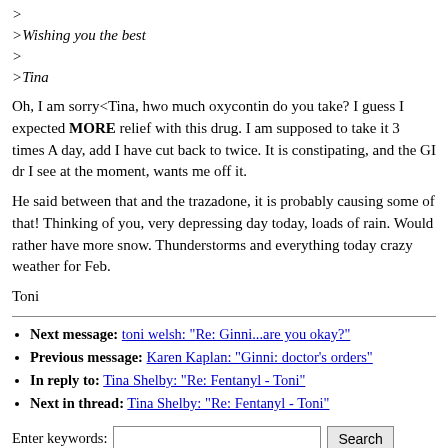>
>Wishing you the best
>
>Tina
Oh, I am sorry<Tina, hwo much oxycontin do you take? I guess I expected MORE relief with this drug. I am supposed to take it 3 times A day, add I have cut back to twice. It is constipating, and the GI dr I see at the moment, wants me off it.
He said between that and the trazadone, it is probably causing some of that! Thinking of you, very depressing day today, loads of rain. Would rather have more snow. Thunderstorms and everything today crazy weather for Feb.
Toni
Next message: toni welsh: "Re: Ginni...are you okay?"
Previous message: Karen Kaplan: "Ginni: doctor's orders"
In reply to: Tina Shelby: "Re: Fentanyl - Toni"
Next in thread: Tina Shelby: "Re: Fentanyl - Toni"